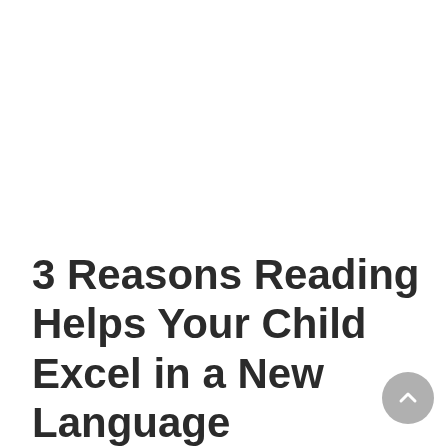3 Reasons Reading Helps Your Child Excel in a New Language